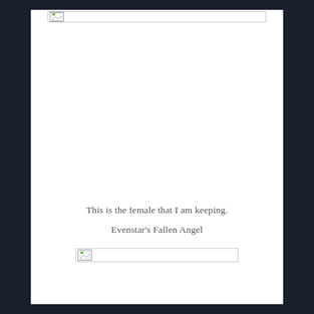[Figure (photo): Broken image placeholder at top of page]
This is the female that I am keeping.
Evenstar's Fallen Angel
[Figure (photo): Broken image placeholder at bottom of page]